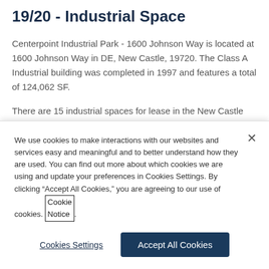19/20 - Industrial Space
Centerpoint Industrial Park - 1600 Johnson Way is located at 1600 Johnson Way in DE, New Castle, 19720. The Class A Industrial building was completed in 1997 and features a total of 124,062 SF.
There are 15 industrial spaces for lease in the New Castle city, totaling 493,858 SF of available industrial space. The
We use cookies to make interactions with our websites and services easy and meaningful and to better understand how they are used. You can find out more about which cookies we are using and update your preferences in Cookies Settings. By clicking “Accept All Cookies,” you are agreeing to our use of cookies. Cookie Notice.
Cookies Settings
Accept All Cookies